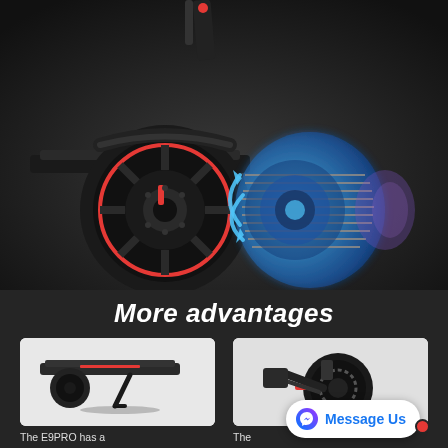[Figure (photo): Electric scooter wheel close-up with blue motor/hub cutaway diagram showing interior components and airflow arrows on dark background]
More advantages
[Figure (photo): Close-up of E9PRO electric scooter side folding kickstand on light background]
[Figure (photo): Close-up of E9PRO electric scooter rear wheel with disc brake and red accent on light background]
The E9PRO has a small side folding-stand for Parkin
The [scooter comes] with a NO-maintenance E-brake in the Front